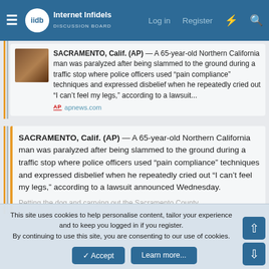Internet Infidels — Log in  Register
SACRAMENTO, Calif. (AP) — A 65-year-old Northern California man was paralyzed after being slammed to the ground during a traffic stop where police officers used “pain compliance” techniques and expressed disbelief when he repeatedly cried out “I can’t feel my legs,” according to a lawsuit...
apnews.com
SACRAMENTO, Calif. (AP) — A 65-year-old Northern California man was paralyzed after being slammed to the ground during a traffic stop where police officers used “pain compliance” techniques and expressed disbelief when he repeatedly cried out “I can’t feel my legs,” according to a lawsuit announced Wednesday.
This site uses cookies to help personalise content, tailor your experience and to keep you logged in if you register.
By continuing to use this site, you are consenting to our use of cookies.